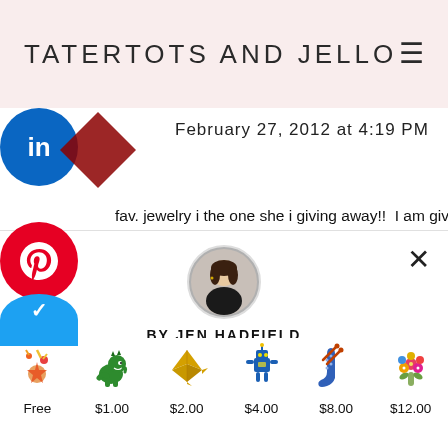TATERTOTS AND JELLO
February 27, 2012 at 4:19 PM
fav. jewelry i the one she i giving away!!  I am giving it
[Figure (illustration): Circular avatar photo of Jen Hadfield, a woman with long dark hair wearing a black top]
BY JEN HADFIELD
Show appreciation for this content by sending the creator a free or paid sticker.
[Figure (infographic): Row of sticker icons with prices: Free (fireworks/stars sticker), $1.00 (green dinosaur), $2.00 (gold origami crane), $4.00 (blue robot), $8.00 (blue knitted sock), $12.00 (flower bouquet)]